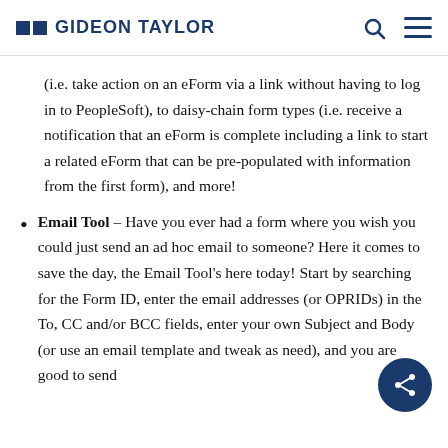GIDEON TAYLOR
(i.e. take action on an eForm via a link without having to log in to PeopleSoft), to daisy-chain form types (i.e. receive a notification that an eForm is complete including a link to start a related eForm that can be pre-populated with information from the first form), and more!
Email Tool – Have you ever had a form where you wish you could just send an ad hoc email to someone? Here it comes to save the day, the Email Tool's here today! Start by searching for the Form ID, enter the email addresses (or OPRIDs) in the To, CC and/or BCC fields, enter your own Subject and Body (or use an email template and tweak as need), and you are good to send